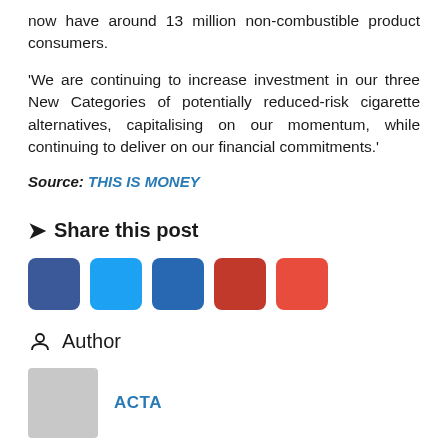now have around 13 million non-combustible product consumers.
‘We are continuing to increase investment in our three New Categories of potentially reduced-risk cigarette alternatives, capitalising on our momentum, while continuing to deliver on our financial commitments.’
Source: THIS IS MONEY
Share this post
[Figure (other): Five social media share buttons: Facebook (dark blue), Twitter (light blue), LinkedIn (medium blue), Pinterest (dark red), Pinterest/email (red)]
Author
[Figure (other): Author avatar placeholder (grey square) next to author name ACTA in blue]
ACTA